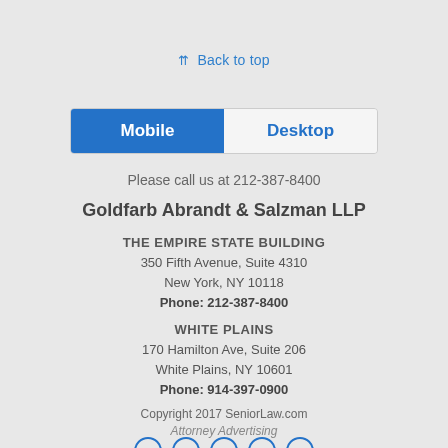⇈ Back to top
[Figure (other): Toggle bar with Mobile (active/blue) and Desktop tabs]
Please call us at 212-387-8400
Goldfarb Abrandt & Salzman LLP
THE EMPIRE STATE BUILDING
350 Fifth Avenue, Suite 4310
New York, NY 10118
Phone: 212-387-8400
WHITE PLAINS
170 Hamilton Ave, Suite 206
White Plains, NY 10601
Phone: 914-397-0900
Copyright 2017 SeniorLaw.com
Attorney Advertising
[Figure (other): Row of five social media icon circles (partially visible at bottom)]